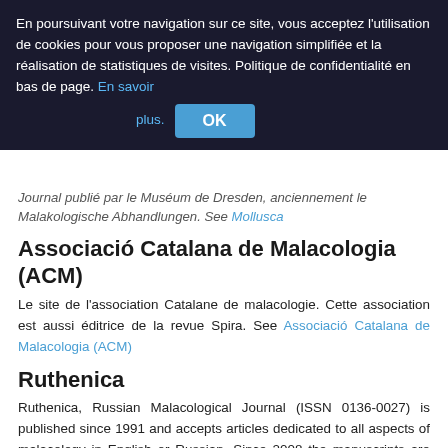En poursuivant votre navigation sur ce site, vous acceptez l'utilisation de cookies pour vous proposer une navigation simplifiée et la réalisation de statistiques de visites. Politique de confidentialité en bas de page. En savoir plus. OK
Journal publié par le Muséum de Dresden, anciennement le Malakologische Abhandlungen. See Mollusca
Associació Catalana de Malacologia (ACM)
Le site de l'association Catalane de malacologie. Cette association est aussi éditrice de la revue Spira. See Associació Catalana de Malacologia (ACM)
Ruthenica
Ruthenica, Russian Malacological Journal (ISSN 0136-0027) is published since 1991 and accepts articles dedicated to all aspects of malacology in English or Russian. Since 2008 the manuscripts are published in the Internet as well as on CD. Paper copies are also available. Ruthenica fully complies with the requirements of ICZN. See Ruthenica
Conchology, Inc.